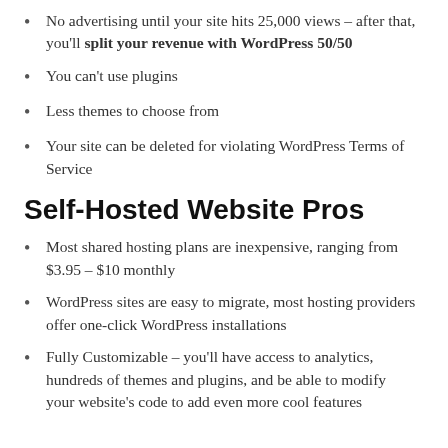No advertising until your site hits 25,000 views – after that, you'll split your revenue with WordPress 50/50
You can't use plugins
Less themes to choose from
Your site can be deleted for violating WordPress Terms of Service
Self-Hosted Website Pros
Most shared hosting plans are inexpensive, ranging from $3.95 – $10 monthly
WordPress sites are easy to migrate, most hosting providers offer one-click WordPress installations
Fully Customizable – you'll have access to analytics, hundreds of themes and plugins, and be able to modify your website's code to add even more cool features